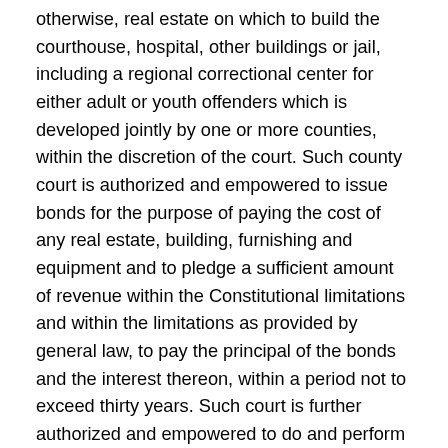otherwise, real estate on which to build the courthouse, hospital, other buildings or jail, including a regional correctional center for either adult or youth offenders which is developed jointly by one or more counties, within the discretion of the court. Such county court is authorized and empowered to issue bonds for the purpose of paying the cost of any real estate, building, furnishing and equipment and to pledge a sufficient amount of revenue within the Constitutional limitations and within the limitations as provided by general law, to pay the principal of the bonds and the interest thereon, within a period not to exceed thirty years. Such court is further authorized and empowered to do and perform any and all acts and make all contracts necessary to effectuate the general purpose of this act, including the acquisition, by original grant, gift, condemnation, or other